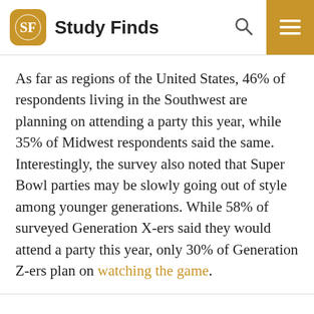Study Finds
As far as regions of the United States, 46% of respondents living in the Southwest are planning on attending a party this year, while 35% of Midwest respondents said the same. Interestingly, the survey also noted that Super Bowl parties may be slowly going out of style among younger generations. While 58% of surveyed Generation X-ers said they would attend a party this year, only 30% of Generation Z-ers plan on watching the game.